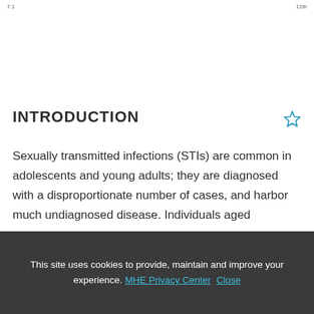7.1 ... 11th ...
INTRODUCTION
Sexually transmitted infections (STIs) are common in adolescents and young adults; they are diagnosed with a disproportionate number of cases, and harbor much undiagnosed disease. Individuals aged
This site uses cookies to provide, maintain and improve your experience. MHE Privacy Center Close